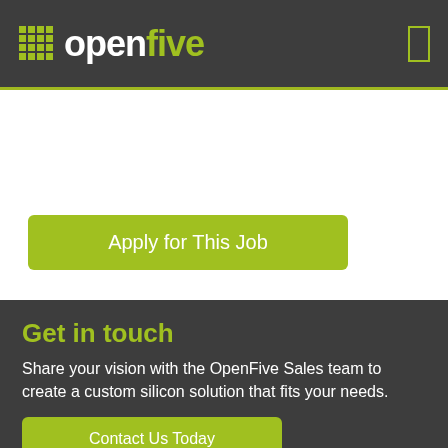openfive
Apply for This Job
Get in touch
Share your vision with the OpenFive Sales team to create a custom silicon solution that fits your needs.
Contact Us Today